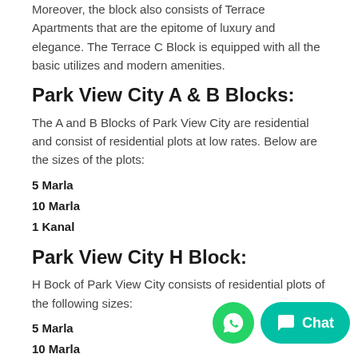Moreover, the block also consists of Terrace Apartments that are the epitome of luxury and elegance. The Terrace C Block is equipped with all the basic utilizes and modern amenities.
Park View City A & B Blocks:
The A and B Blocks of Park View City are residential and consist of residential plots at low rates. Below are the sizes of the plots:
5 Marla
10 Marla
1 Kanal
Park View City H Block:
H Bock of Park View City consists of residential plots of the following sizes:
5 Marla
10 Marla